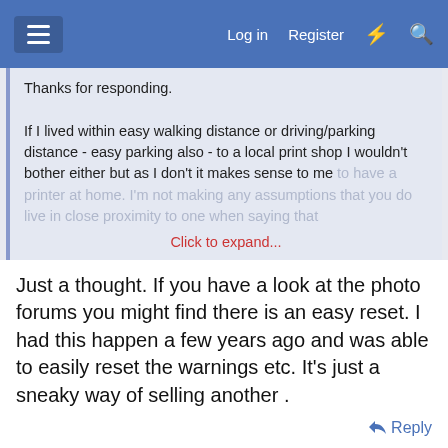Log in  Register
Thanks for responding.

If I lived within easy walking distance or driving/parking distance - easy parking also - to a local print shop I wouldn't bother either but as I don't it makes sense to me to have a printer at home. I'm not making any assumptions that you do live in close proximity to one when saying that
Click to expand...
Just a thought. If you have a look at the photo forums you might find there is an easy reset. I had this happen a few years ago and was able to easily reset the warnings etc. It's just a sneaky way of selling another .
Reply
Report Ad   In-store shopping